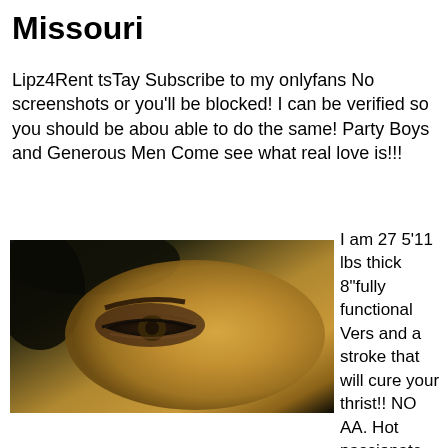Missouri
Lipz4Rent tsTay Subscribe to my onlyfans No screenshots or you'll be blocked! I can be verified so you should be abou able to do the same! Party Boys and Generous Men Come see what real love is!!!
[Figure (photo): Close-up photo of a person's eye with dark eye makeup, warm skin tone, dark hair visible at top left]
I am 27 5'11 lbs thick 8"fully functional Vers and a stroke that will cure your thrist!! NO AA. Hot passionate Daddys